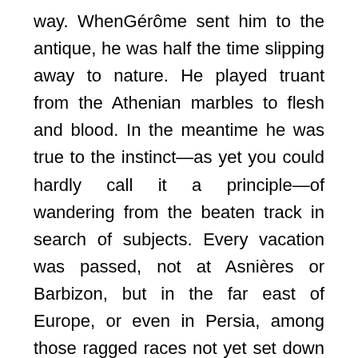way. WhenGérôme sent him to the antique, he was half the time slipping away to nature. He played truant from the Athenian marbles to flesh and blood. In the meantime he was true to the instinct—as yet you could hardly call it a principle—of wandering from the beaten track in search of subjects. Every vacation was passed, not at Asnières or Barbizon, but in the far east of Europe, or even in Persia, among those ragged races not yet set down in artistic black and white. He had been on the borders of a quite fresh field of observation in these journeys; and he was soon to enter it for a full harvest of new impressions. It was in 1867; Russia was sending an army into Central Asia, to punish the marauding Turkomans for the fiftieth time, and General Kauffman, who